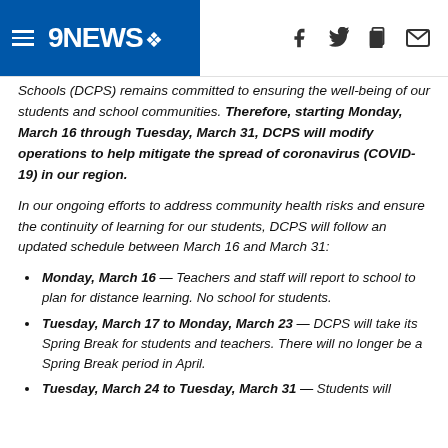9NEWS
Schools (DCPS) remains committed to ensuring the well-being of our students and school communities. Therefore, starting Monday, March 16 through Tuesday, March 31, DCPS will modify operations to help mitigate the spread of coronavirus (COVID-19) in our region.
In our ongoing efforts to address community health risks and ensure the continuity of learning for our students, DCPS will follow an updated schedule between March 16 and March 31:
Monday, March 16 — Teachers and staff will report to school to plan for distance learning. No school for students.
Tuesday, March 17 to Monday, March 23 — DCPS will take its Spring Break for students and teachers. There will no longer be a Spring Break period in April.
Tuesday, March 24 to Tuesday, March 31 — Students will...